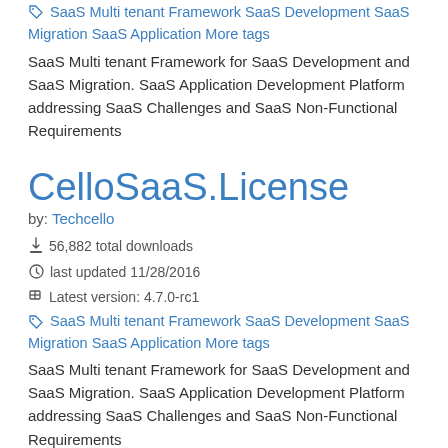SaaS Multi tenant Framework SaaS Development SaaS Migration SaaS Application More tags
SaaS Multi tenant Framework for SaaS Development and SaaS Migration. SaaS Application Development Platform addressing SaaS Challenges and SaaS Non-Functional Requirements
CelloSaaS.License
by: Techcello
56,882 total downloads
last updated 11/28/2016
Latest version: 4.7.0-rc1
SaaS Multi tenant Framework SaaS Development SaaS Migration SaaS Application More tags
SaaS Multi tenant Framework for SaaS Development and SaaS Migration. SaaS Application Development Platform addressing SaaS Challenges and SaaS Non-Functional Requirements
CelloSaaS.Plumbing